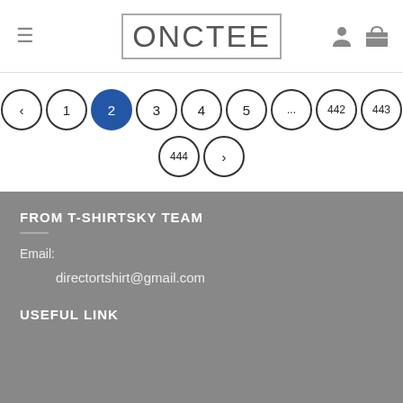ONCTEE
[Figure (other): Pagination bar showing: < 1 [2] 3 4 5 ... 442 443 / 444 >]
FROM T-SHIRTSKY TEAM
Email:
directortshirt@gmail.com
USEFUL LINK